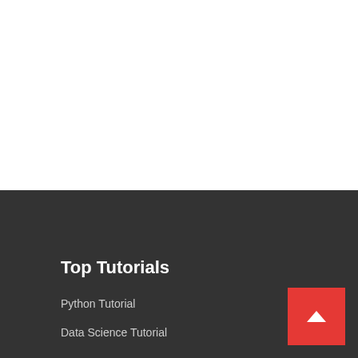Top Tutorials
Python Tutorial
Data Science Tutorial